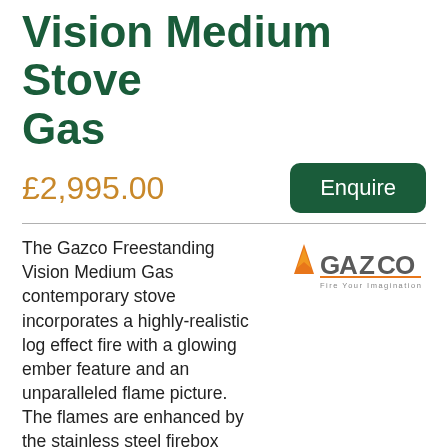Vision Medium Stove Gas
£2,995.00
Enquire
The Gazco Freestanding Vision Medium Gas contemporary stove incorporates a highly-realistic log effect fire with a glowing ember feature and an unparalleled flame picture. The flames are enhanced by the stainless steel firebox lining panels, creating extra illumination in the firebox and with a mirror-like finish that echoes the Vision's reflective exterior.
[Figure (logo): Gazco logo with orange flame triangle, grey GAZCO text, and tagline 'Fire Your Imagination']
Price showing is for the Vision Medium with rear exit; log base; conventional flue; natural